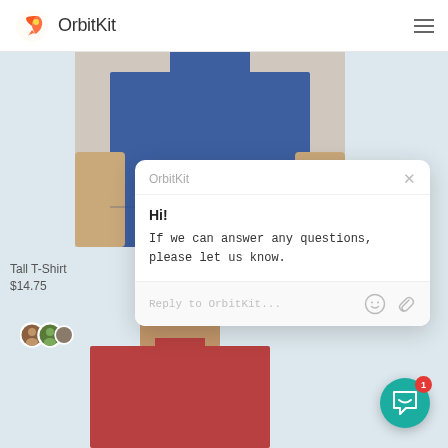OrbitKit
[Figure (screenshot): E-commerce product page screenshot showing OrbitKit logo header with hamburger menu, blue t-shirt product image with hands holding shirt hem, product title 'Tall T-Shirt' and price '$14.75', user avatar group, and overlaid chat popup widget from OrbitKit saying 'Hi! If we can answer any questions, please let us know.' with reply input area and chat widget button with notification badge '1']